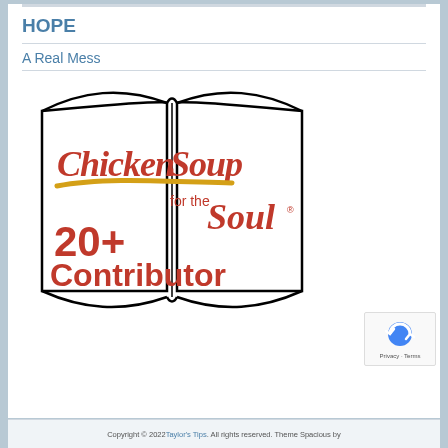HOPE
A Real Mess
[Figure (logo): Chicken Soup for the Soul 20+ Contributor badge logo — open book shape outline with red cursive and bold text reading 'Chicken Soup for the Soul' with a gold swoosh line, and '20+ Contributor' in large red text below]
Copyright © 2022 Taylor's Tips. All rights reserved. Theme Spacious by